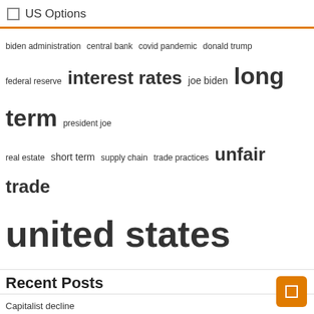US Options
[Figure (infographic): Tag cloud with terms: biden administration, central bank, covid pandemic, donald trump, federal reserve, interest rates, joe biden, long term, president joe, real estate, short term, supply chain, trade practices, unfair trade, united states — sized by frequency]
Recent Posts
Capitalist decline
“Countering” China Would Set the Stage for Global Depression – Analysis – Eurasia Review
C2G Cable and Connectivity Options Now Available in Chief’s New Web-Based Video Wall Configuration Tool
KLEX Protocol launches ‘vampire attack’ on KLAYswap to attract cash
Free markets are a fiction